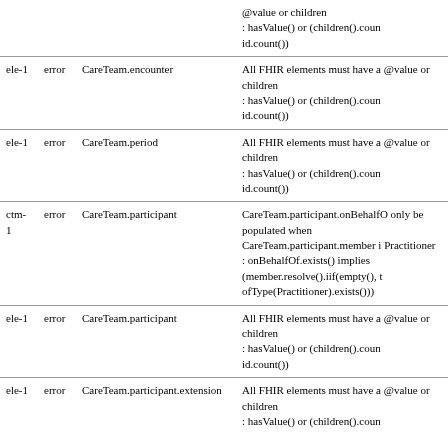| Key | Severity | Path | Description |
| --- | --- | --- | --- |
|  |  |  | @value or children
: hasValue() or (children().count() > id.count()) |
| ele-1 | error | CareTeam.encounter | All FHIR elements must have a @value or children
: hasValue() or (children().count() > id.count()) |
| ele-1 | error | CareTeam.period | All FHIR elements must have a @value or children
: hasValue() or (children().count() > id.count()) |
| ctm-1 | error | CareTeam.participant | CareTeam.participant.onBehalfOf can only be populated when CareTeam.participant.member is a Practitioner
: onBehalfOf.exists() implies (member.resolve().iif(empty(), true, ofType(Practitioner).exists())) |
| ele-1 | error | CareTeam.participant | All FHIR elements must have a @value or children
: hasValue() or (children().count() > id.count()) |
| ele-1 | error | CareTeam.participant.extension | All FHIR elements must have a @value or children
: hasValue() or (children().count() > id.count()) |